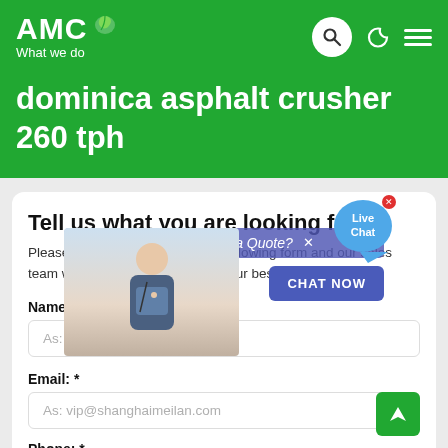AMC What we do
dominica asphalt crusher 260 tph
Tell us what you are looking for?
Please complete and submit the following form and our sales team will contact you shortly with our best prices.
Name: *
As: Tom
Email: *
As: vip@shanghaimeilan.com
Phone: *
With Country Code
[Figure (screenshot): Live chat popup with customer service representative image, 'Have Questions or Need a Quote?' banner, 'CHAT NOW' button, and 'Live Chat' speech bubble icon]